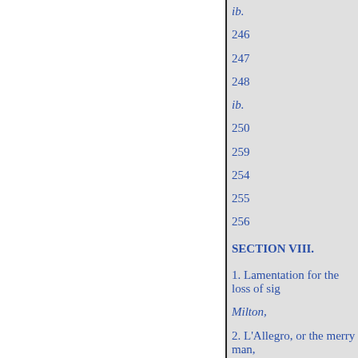ib.
246
247
248
ib.
250
259
254
255
256
SECTION VIII.
1. Lamentation for the loss of sig
Milton,
2. L'Allegro, or the merry man,
ib.